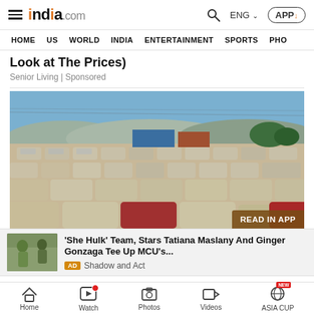india.com — HOME | US | WORLD | INDIA | ENTERTAINMENT | SPORTS | PHO
Look at The Prices)
Senior Living | Sponsored
[Figure (photo): Aerial view of a large parking lot filled with hundreds of identical light-colored cars, with industrial buildings and trees in the background. A 'READ IN APP' badge appears in the bottom-right corner.]
'She Hulk' Team, Stars Tatiana Maslany And Ginger Gonzaga Tee Up MCU's... AD Shadow and Act
Home | Watch | Photos | Videos | ASIA CUP